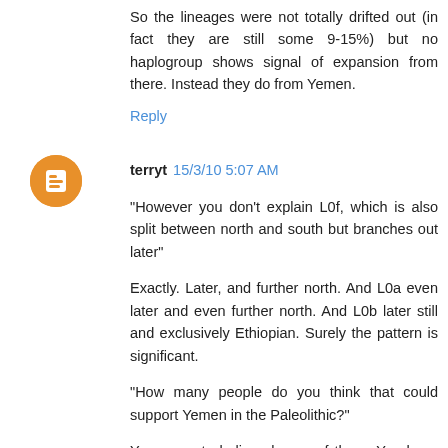So the lineages were not totally drifted out (in fact they are still some 9-15%) but no haplogroup shows signal of expansion from there. Instead they do from Yemen.
Reply
terryt 15/3/10 5:07 AM
"However you don't explain L0f, which is also split between north and south but branches out later"
Exactly. Later, and further north. And L0a even later and even further north. And L0b later still and exclusively Ethiopian. Surely the pattern is significant.
"How many people do you think that could support Yemen in the Paleolithic?"
You seem to believe heaps of them. You have haplogroups arriving in ancient times and persisting until today. And you have Yemen providing sufficient resources for humans to survive as they moved east along the coast. So there should be...